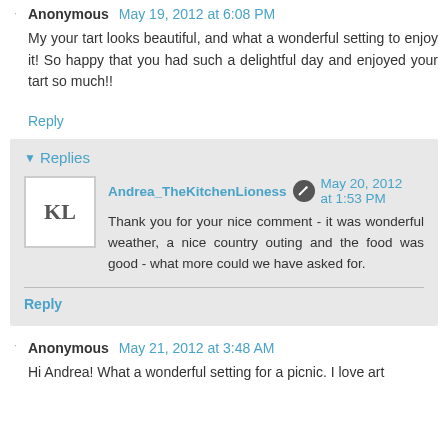Anonymous May 19, 2012 at 6:08 PM
My your tart looks beautiful, and what a wonderful setting to enjoy it! So happy that you had such a delightful day and enjoyed your tart so much!!
Reply
Replies
Andrea_TheKitchenLioness May 20, 2012 at 1:53 PM
Thank you for your nice comment - it was wonderful weather, a nice country outing and the food was good - what more could we have asked for.
Reply
Anonymous May 21, 2012 at 3:48 AM
Hi Andrea! What a wonderful setting for a picnic. I love art